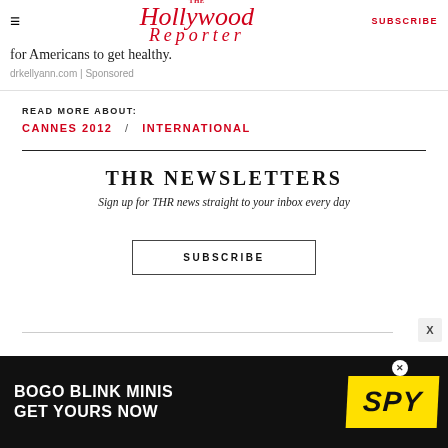The Hollywood Reporter | SUBSCRIBE
for Americans to get healthy.
drkellyann.com | Sponsored
READ MORE ABOUT:
CANNES 2012 / INTERNATIONAL
THR NEWSLETTERS
Sign up for THR news straight to your inbox every day
SUBSCRIBE
[Figure (photo): BOGO BLINK MINIS GET YOURS NOW - SPY advertisement banner]